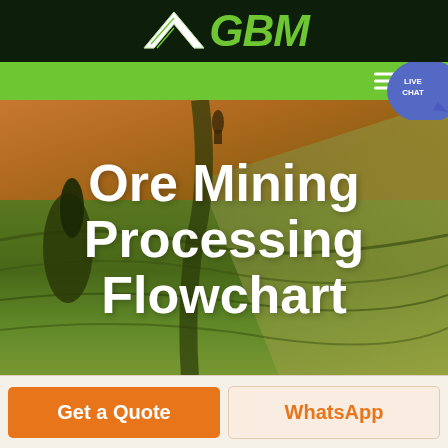[Figure (logo): GBM company logo with green arrow/chevron graphic and green GBM text on dark background header]
[Figure (photo): Aerial landscape photo showing rolling fields with warm orange/brown tones in upper area transitioning to green agricultural fields with curved terrain lines]
Ore Mining Processing Flowchart
Get a Quote
WhatsApp